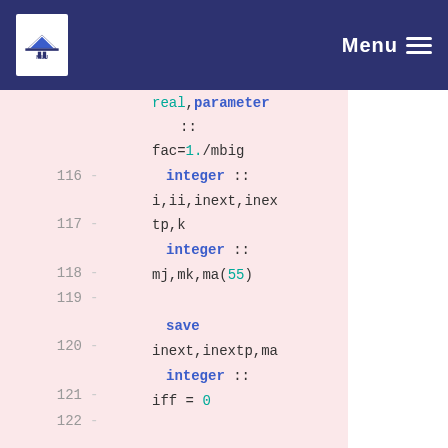NILU | Menu
real,parameter :: fac=1./mbig
116 - integer :: i,ii,inext,inextp,k
117 - integer :: mj,mk,ma(55)
118 -
119 - save inext,inextp,ma
120 - integer :: iff = 0
121 -
122 -
     if(idum.lt.0.or.iff.eq.0)then
123 -     iff=1
124 -     mj=mseed-iabs(idum)
125 -